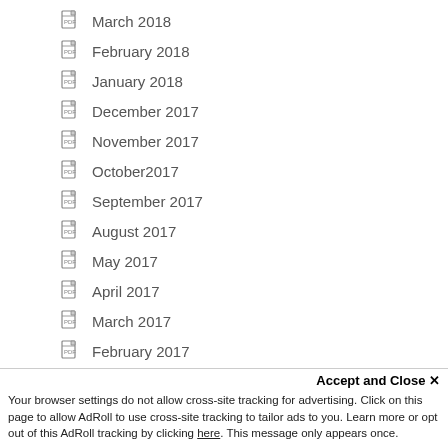March 2018
February 2018
January 2018
December 2017
November 2017
October2017
September 2017
August 2017
May 2017
April 2017
March 2017
February 2017
January 2017
December 2016
November 2016
Accept and Close ×
Your browser settings do not allow cross-site tracking for advertising. Click on this page to allow AdRoll to use cross-site tracking to tailor ads to you. Learn more or opt out of this AdRoll tracking by clicking here. This message only appears once.